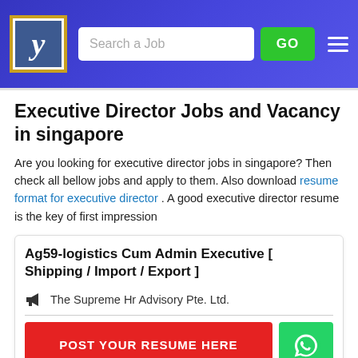Job search website header with logo, Search a Job input, GO button, and hamburger menu
Executive Director Jobs and Vacancy in singapore
Are you looking for executive director jobs in singapore? Then check all bellow jobs and apply to them. Also download resume format for executive director . A good executive director resume is the key of first impression
Ag59-logistics Cum Admin Executive [ Shipping / Import / Export ]
The Supreme Hr Advisory Pte. Ltd.
POST YOUR RESUME HERE
Industry : Computers / IT